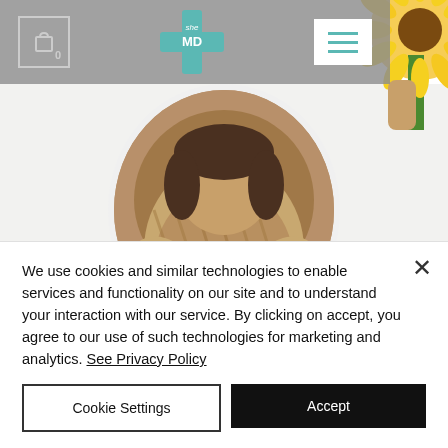[Figure (screenshot): SheMD website header navigation bar with cart icon, teal cross logo with 'she MD' text, and hamburger menu button on grey background]
[Figure (photo): Circular profile photo of Dr. Jillianne Grayson MD, partially visible, with sunflower photo in top-right corner]
Jillianne Grayson MD
Psychiatry
About Me
We use cookies and similar technologies to enable services and functionality on our site and to understand your interaction with our service. By clicking on accept, you agree to our use of such technologies for marketing and analytics. See Privacy Policy